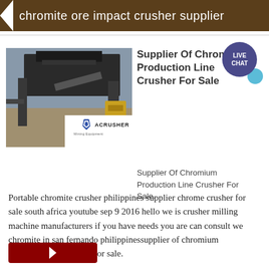chromite ore impact crusher supplier
[Figure (photo): Industrial chromite/mining crusher equipment at a job site, with ACrusher Mining Equipment logo overlay in white box at bottom right of image.]
Supplier Of Chromium Production Line Crusher For Sale
Supplier Of Chromium Production Line Crusher For Sale. Portable chromite crusher philippines supplier chrome crusher for sale south africa youtube sep 9 2016 hello we is crusher milling machine manufacturers if you have needs you are can consult we chromite in san fernando philippinessupplier of chromium production line crusher for sale.